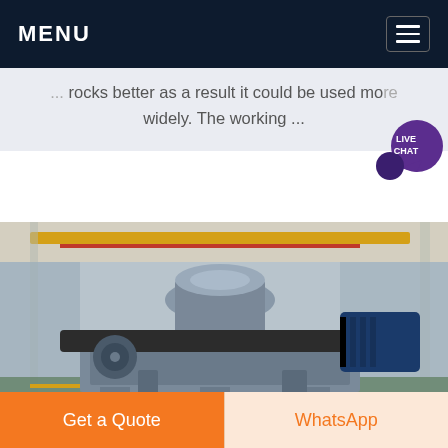MENU
... rocks better as a result it could be used more widely. The working ...
[Figure (photo): Industrial cone crusher machine in a large manufacturing factory floor, showing grey heavy machinery with conveyor components.]
Get a Quote
WhatsApp